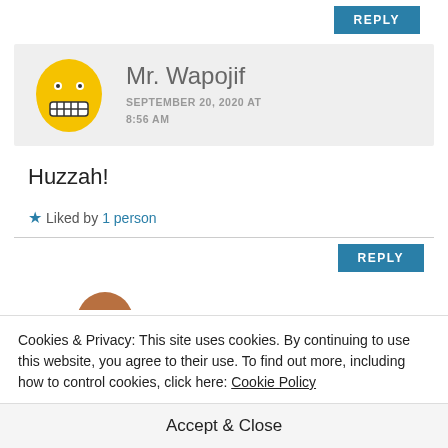[Figure (other): REPLY button at top right, teal/blue background]
[Figure (illustration): Comment header with yellow emoji avatar (grimacing face) and commenter name Mr. Wapojif with date SEPTEMBER 20, 2020 AT 8:56 AM on gray background]
Huzzah!
★ Liked by 1 person
[Figure (other): REPLY button, teal/blue, at right side above a horizontal line]
[Figure (illustration): Partial brown avatar circle at the bottom, partially cut off]
Cookies & Privacy: This site uses cookies. By continuing to use this website, you agree to their use. To find out more, including how to control cookies, click here: Cookie Policy
Accept & Close